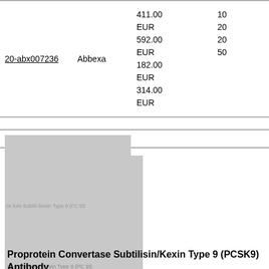| ID | Supplier | Price | Size |
| --- | --- | --- | --- |
| 20-abx007236 | Abbexa | 411.00
EUR
592.00
EUR
182.00
EUR
314.00
EUR | 10
20
20
50 |
[Figure (photo): Gray placeholder image for Proprotein Convertase Subtilisin/Kexin Type 9 (PCSK9) antibody product]
Proprotein Convertase Subtilisin/Kexin Type 9 (PCSK9) Antibody
| Price | Size |
| --- | --- |
| 411.00
EUR | 10 |